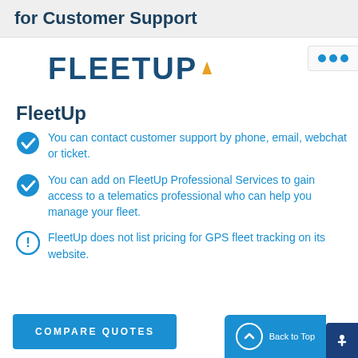for Customer Support
[Figure (logo): FleetUp logo with dark blue bold text and orange arrow accent]
FleetUp
You can contact customer support by phone, email, webchat or ticket.
You can add on FleetUp Professional Services to gain access to a telematics professional who can help you manage your fleet.
FleetUp does not list pricing for GPS fleet tracking on its website.